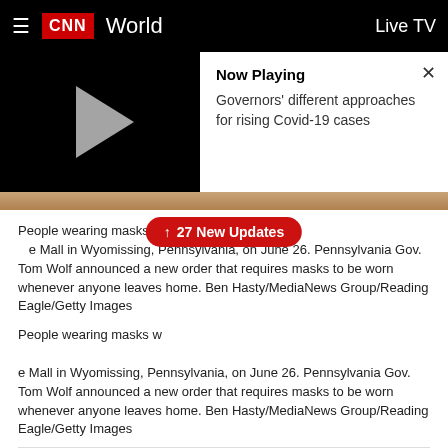CNN World | Live TV
[Figure (screenshot): Video player with play button on dark background showing 'Now Playing: Governors' different approaches for rising Covid-19 cases' with a close (X) button]
People wearing masks while shopping at the Wyomissing Commons Mall in Wyomissing, Pennsylvania, on June 26. Pennsylvania Gov. Tom Wolf announced a new order that requires masks to be worn whenever anyone leaves home. Ben Hasty/MediaNews Group/Reading Eagle/Getty Images
Pennsylvania Gov. Tom Wolf announced a new order that requires masks to be worn whenever anyone leaves home, a measure he said is “essential to stopping the recent increase in Covid-19 cases” seen recently in the state.